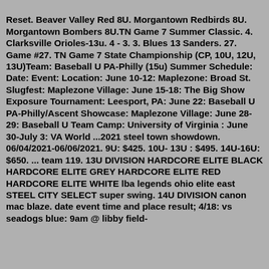Reset. Beaver Valley Red 8U. Morgantown Redbirds 8U. Morgantown Bombers 8U.TN Game 7 Summer Classic. 4. Clarksville Orioles-13u. 4 - 3. 3. Blues 13 Sanders. 27. Game #27. TN Game 7 State Championship (CP, 10U, 12U, 13U)Team: Baseball U PA-Philly (15u) Summer Schedule: Date: Event: Location: June 10-12: Maplezone: Broad St. Slugfest: Maplezone Village: June 15-18: The Big Show Exposure Tournament: Leesport, PA: June 22: Baseball U PA-Philly/Ascent Showcase: Maplezone Village: June 28-29: Baseball U Team Camp: University of Virginia : June 30-July 3: VA World ...2021 steel town showdown. 06/04/2021-06/06/2021. 9U: $425. 10U- 13U : $495. 14U-16U: $650. ... team 119. 13U DIVISION HARDCORE ELITE BLACK HARDCORE ELITE GREY HARDCORE ELITE RED HARDCORE ELITE WHITE lba legends ohio elite east STEEL CITY SELECT super swing. 14U DIVISION canon mac blaze. date event time and place result; 4/18: vs seadogs blue: 9am @ libby field-$3. legends...come together...03199... THE #1 Team...